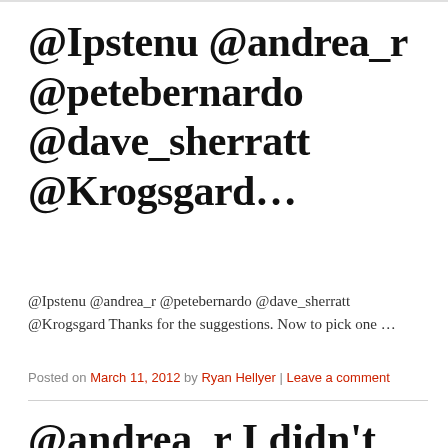@Ipstenu @andrea_r @petebernardo @dave_sherratt @Krogsgard...
@Ipstenu @andrea_r @petebernardo @dave_sherratt @Krogsgard Thanks for the suggestions. Now to pick one …
Posted on March 11, 2012 by Ryan Hellyer | Leave a comment
@andrea_r I didn't